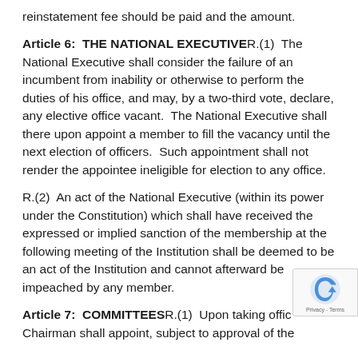reinstatement fee should be paid and the amount.
Article 6:  THE NATIONAL EXECUTIVE
R.(1) The National Executive shall consider the failure of an incumbent from inability or otherwise to perform the duties of his office, and may, by a two-third vote, declare, any elective office vacant.  The National Executive shall there upon appoint a member to fill the vacancy until the next election of officers.  Such appointment shall not render the appointee ineligible for election to any office.
R.(2) An act of the National Executive (within its power under the Constitution) which shall have received the expressed or implied sanction of the membership at the following meeting of the Institution shall be deemed to be an act of the Institution and cannot afterward be impeached by any member.
Article 7:  COMMITTEESR.(1)  Upon taking office, Chairman shall appoint, subject to approval of the